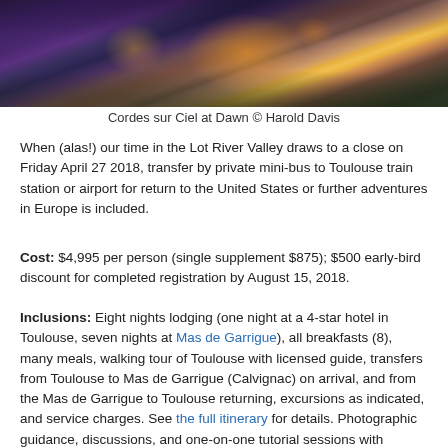[Figure (photo): Aerial/elevated view of Cordes sur Ciel village at dawn, with warm orange and amber lights glowing among stone buildings surrounded by dark trees and hills, twilight purple sky]
Cordes sur Ciel at Dawn © Harold Davis
When (alas!) our time in the Lot River Valley draws to a close on Friday April 27 2018, transfer by private mini-bus to Toulouse train station or airport for return to the United States or further adventures in Europe is included.
Cost: $4,995 per person (single supplement $875); $500 early-bird discount for completed registration by August 15, 2018.
Inclusions: Eight nights lodging (one night at a 4-star hotel in Toulouse, seven nights at Mas de Garrigue), all breakfasts (8), many meals, walking tour of Toulouse with licensed guide, transfers from Toulouse to Mas de Garrigue (Calvignac) on arrival, and from the Mas de Garrigue to Toulouse returning, excursions as indicated, and service charges. See the full itinerary for details. Photographic guidance, discussions, and one-on-one tutorial sessions with master photographer Harold Davis are also included.